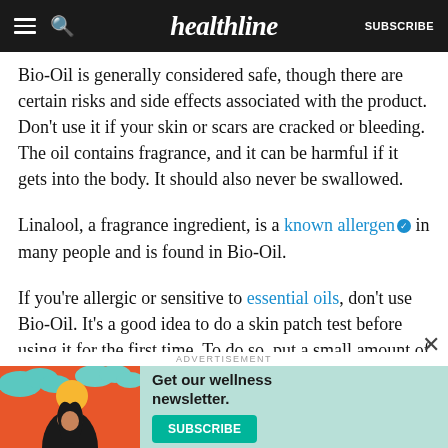healthline — SUBSCRIBE
Bio-Oil is generally considered safe, though there are certain risks and side effects associated with the product. Don't use it if your skin or scars are cracked or bleeding. The oil contains fragrance, and it can be harmful if it gets into the body. It should also never be swallowed.
Linalool, a fragrance ingredient, is a known allergen in many people and is found in Bio-Oil.
If you're allergic or sensitive to essential oils, don't use Bio-Oil. It's a good idea to do a skin patch test before using it for the first time. To do so, put a small amount of product on your forearm, and wait at least 30
[Figure (illustration): Advertisement banner for a wellness newsletter subscription featuring an illustrated woman with dark hair against an orange/red background with teal clouds, with text 'Get our wellness newsletter.' and a teal SUBSCRIBE button]